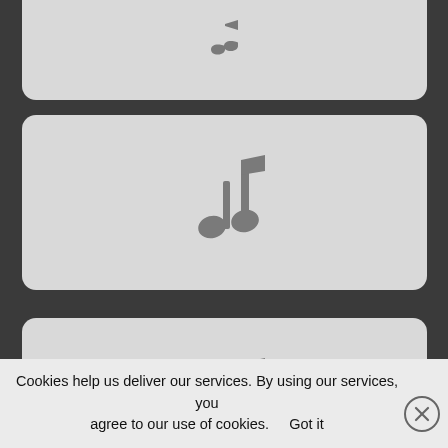[Figure (other): Partially visible card with music note icon at top]
[Figure (other): Light gray rounded card with a gray music note icon in the center]
[Figure (other): Light gray rounded card with a gray music note icon, partially visible at bottom]
Cookies help us deliver our services. By using our services, you agree to our use of cookies.    Got it